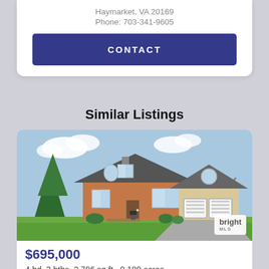Haymarket, VA 20169
Phone: 703-341-9605
CONTACT
Similar Listings
[Figure (photo): Exterior photo of a two-story brick and siding colonial home with attached two-car garage, green lawn, and blue sky. Bright MLS watermark in bottom right corner.]
$695,000
4 bd, 3 bths, 2,796 sq.ft., 0.180 acres
15688 Alderbrook